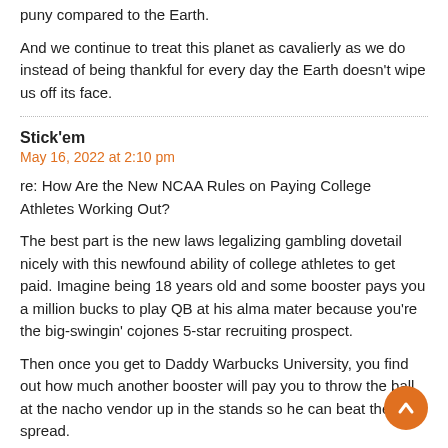puny compared to the Earth.
And we continue to treat this planet as cavalierly as we do instead of being thankful for every day the Earth doesn't wipe us off its face.
Stick'em
May 16, 2022 at 2:10 pm
re: How Are the New NCAA Rules on Paying College Athletes Working Out?
The best part is the new laws legalizing gambling dovetail nicely with this newfound ability of college athletes to get paid. Imagine being 18 years old and some booster pays you a million bucks to play QB at his alma mater because you're the big-swingin' cojones 5-star recruiting prospect.
Then once you get to Daddy Warbucks University, you find out how much another booster will pay you to throw the ball at the nacho vendor up in the stands so he can beat the point spread.
Nope, nothing could possibly go wrong here…
https://slate.com/culture/2022/03/calvin-ridley-gambling-sports-betting-nfl…